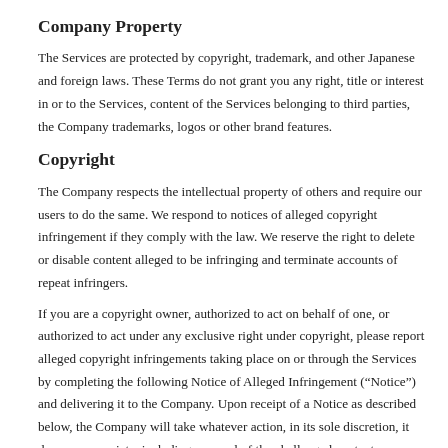anyone in doing so.
Company Property
The Services are protected by copyright, trademark, and other Japanese and foreign laws. These Terms do not grant you any right, title or interest in or to the Services, content of the Services belonging to third parties, the Company trademarks, logos or other brand features.
Copyright
The Company respects the intellectual property of others and require our users to do the same. We respond to notices of alleged copyright infringement if they comply with the law. We reserve the right to delete or disable content alleged to be infringing and terminate accounts of repeat infringers.
If you are a copyright owner, authorized to act on behalf of one, or authorized to act under any exclusive right under copyright, please report alleged copyright infringements taking place on or through the Services by completing the following Notice of Alleged Infringement (“Notice”) and delivering it to the Company. Upon receipt of a Notice as described below, the Company will take whatever action, in its sole discretion, it deems appropriate, including removal of the challenged content